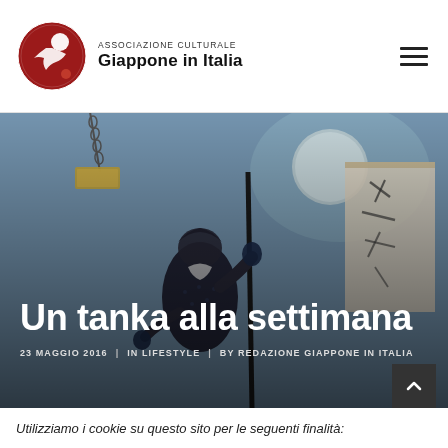[Figure (logo): Associazione Culturale Giappone in Italia logo — circular red emblem with bird silhouette and red circle, next to text 'ASSOCIAZIONE CULTURALE / Giappone in Italia']
[Figure (photo): Japanese ukiyo-e woodblock print style illustration showing a figure in dark winter clothing holding a long pole/staff, with calligraphy scroll in background, moon visible, blue-grey tones. Used as hero banner image.]
Un tanka alla settimana
23 MAGGIO 2016  |  IN LIFESTYLE  |  BY REDAZIONE GIAPPONE IN ITALIA
Utilizziamo i cookie su questo sito per le seguenti finalità: